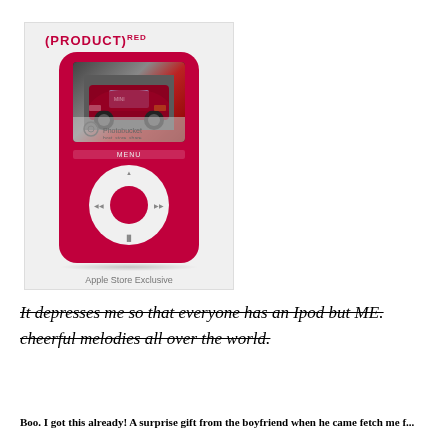[Figure (photo): A red (PRODUCT)RED iPod nano 3rd generation with a Mini Cooper shown on screen. The iPod has a click wheel with a red center button. The image has a Photobucket watermark overlay. Below the device is the caption 'Apple Store Exclusive'.]
Apple Store Exclusive
It depresses me so that everyone has an Ipod but ME. cheerful melodies all over the world.
Boo. I got this already! A surprise gift from the boyfriend when he came fetch me f...